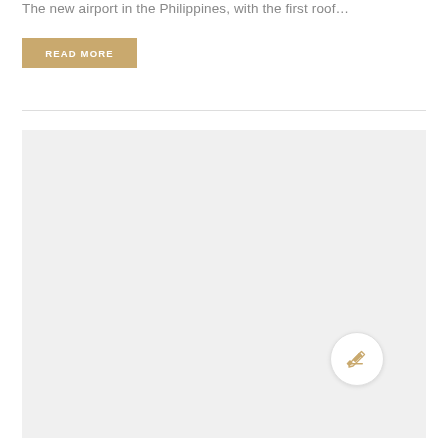The new airport in the Philippines, with the first roof…
READ MORE
[Figure (photo): Large light gray placeholder image area representing a photo of the new airport in the Philippines, with an edit/compose button overlay in the lower right corner]